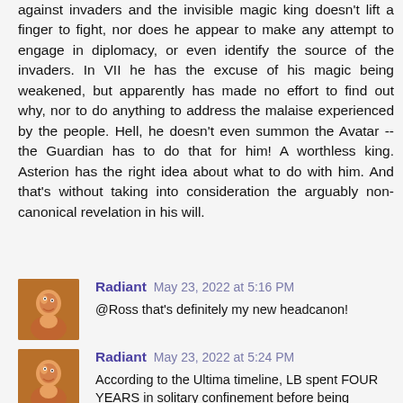against invaders and the invisible magic king doesn't lift a finger to fight, nor does he appear to make any attempt to engage in diplomacy, or even identify the source of the invaders. In VII he has the excuse of his magic being weakened, but apparently has made no effort to find out why, nor to do anything to address the malaise experienced by the people. Hell, he doesn't even summon the Avatar -- the Guardian has to do that for him! A worthless king. Asterion has the right idea about what to do with him. And that's without taking into consideration the arguably non-canonical revelation in his will.
Radiant May 23, 2022 at 5:16 PM
@Ross that's definitely my new headcanon!
Radiant May 23, 2022 at 5:24 PM
According to the Ultima timeline, LB spent FOUR YEARS in solitary confinement before being